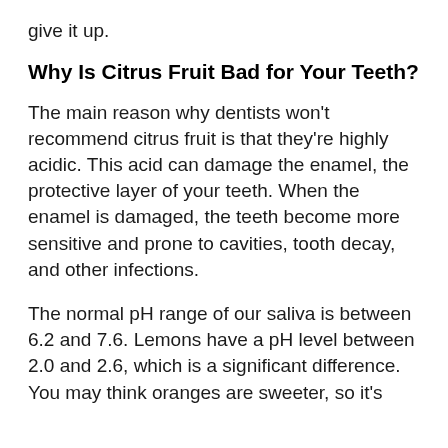give it up.
Why Is Citrus Fruit Bad for Your Teeth?
The main reason why dentists won't recommend citrus fruit is that they're highly acidic. This acid can damage the enamel, the protective layer of your teeth. When the enamel is damaged, the teeth become more sensitive and prone to cavities, tooth decay, and other infections.
The normal pH range of our saliva is between 6.2 and 7.6. Lemons have a pH level between 2.0 and 2.6, which is a significant difference. You may think oranges are sweeter, so it's